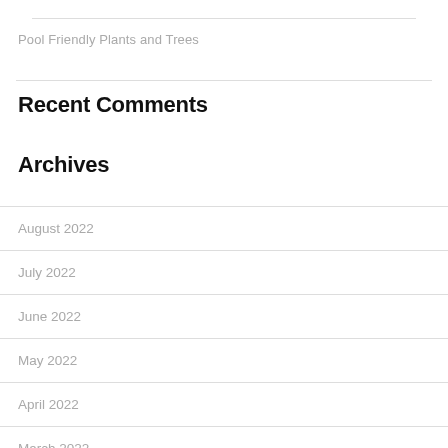Pool Friendly Plants and Trees
Recent Comments
Archives
August 2022
July 2022
June 2022
May 2022
April 2022
March 2022